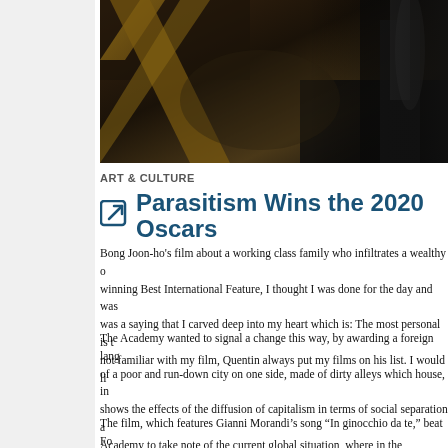[Figure (photo): Dark photograph showing wooden beams and shadowy figures, likely a scene from the film Parasite]
ART & CULTURE
Parasitism Wins the 2020 Oscars
Bong Joon-ho's film about a working class family who infiltrates a wealthy o... winning Best International Feature, I thought I was done for the day and was... was a saying that I carved deep into my heart which is: The most personal is t... not familiar with my film, Quentin always put my films on his list. I would li...
The Academy wanted to signal a change this way, by awarding a foreign lang... of a poor and run-down city on one side, made of dirty alleys which house, im... shows the effects of the diffusion of capitalism in terms of social separation a... Academy to take note of the current global situation, where in the desperate a... immoral culture, which involves the poor as much as the rich.
The film, which features Gianni Morandi's song "In ginocchio da te," beat Fo... Jojo Rabbit and crowd favorite Joker. Todd Phillips' film made it to the Osc...